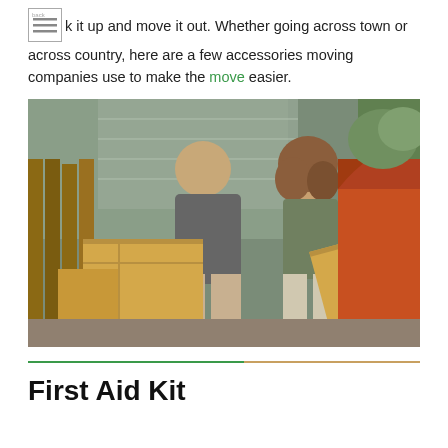pack it up and move it out. Whether going across town or across country, here are a few accessories moving companies use to make the move easier.
[Figure (photo): A man and a woman loading cardboard boxes into the trunk of an orange/red car outdoors. The man is smiling and holding a box near a wooden fence; the woman has curly hair and is placing a box into the open trunk.]
First Aid Kit